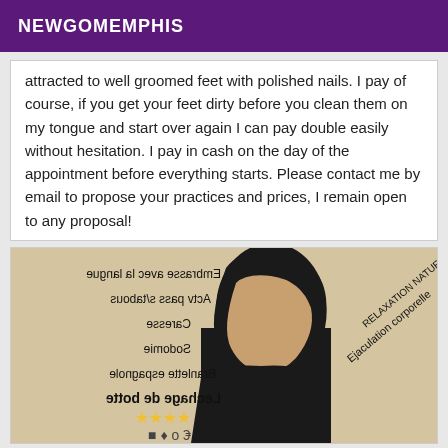NEWGOMEMPHIS
attracted to well groomed feet with polished nails. I pay of course, if you get your feet dirty before you clean them on my tongue and start over again I can pay double easily without hesitation. I pay in cash on the day of the appointment before everything starts. Please contact me by email to propose your practices and prices, I remain open to any proposal!
[Figure (photo): Photo of a woman with overlaid mirrored text listing services in French including: Embrasse avec la langue, Actv pass s/tabous, Caresse, Sodomie, Branlette espagnole, Ejaculation corporelle, Relaxation nature ou protege, and other text; stars and partial text at bottom]